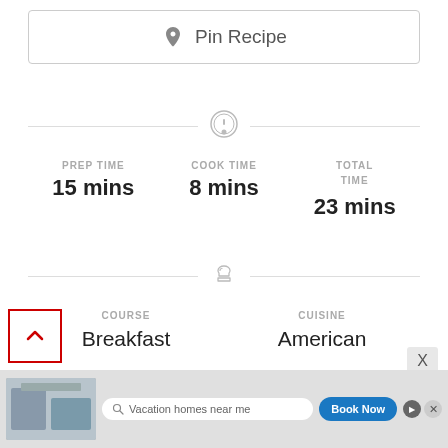Pin Recipe
PREP TIME
15 mins
COOK TIME
8 mins
TOTAL TIME
23 mins
COURSE
Breakfast
CUISINE
American
SERVINGS
CALORIES
[Figure (screenshot): Advertisement banner showing vacation homes with search bar and Book Now button]